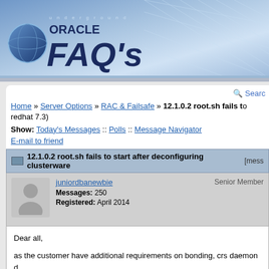[Figure (screenshot): Underground Oracle FAQ's website banner header with globe logo and blue gradient background with circuit board grid pattern]
Home » Server Options » RAC & Failsafe » 12.1.0.2 root.sh fails to... redhat 7.3)
Show: Today's Messages :: Polls :: Message Navigator
E-mail to friend
12.1.0.2 root.sh fails to start after deconfiguring clusterware [mess...
juniordbanewbie  Senior Member
Messages: 250
Registered: April 2014
Dear all,

as the customer have additional requirements on bonding, crs daemon d...